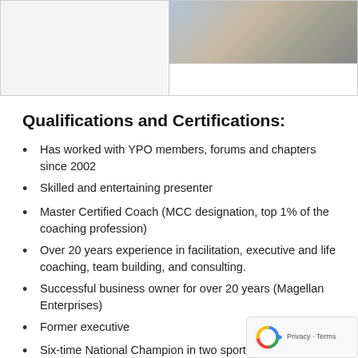[Figure (photo): Two-panel image area at top: left panel is a light gray empty box, right panel shows a partial photo of a person (blurred/cropped) against a wall background]
Qualifications and Certifications:
Has worked with YPO members, forums and chapters since 2002
Skilled and entertaining presenter
Master Certified Coach (MCC designation, top 1% of the coaching profession)
Over 20 years experience in facilitation, executive and life coaching, team building, and consulting.
Successful business owner for over 20 years (Magellan Enterprises)
Former executive
Six-time National Champion in two sports
Author of Wag, Live, Love – What Dogs Teach Us About Happiness and Life